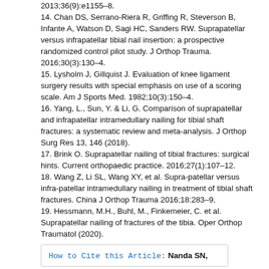2013;36(9):e1155–8.
14. Chan DS, Serrano-Riera R, Griffing R, Steverson B, Infante A, Watson D, Sagi HC, Sanders RW. Suprapatellar versus infrapatellar tibial nail insertion: a prospective randomized control pilot study. J Orthop Trauma. 2016;30(3):130–4.
15. Lysholm J, Gillquist J. Evaluation of knee ligament surgery results with special emphasis on use of a scoring scale. Am J Sports Med. 1982;10(3):150–4.
16. Yang, L., Sun, Y. & Li, G. Comparison of suprapatellar and infrapatellar intramedullary nailing for tibial shaft fractures: a systematic review and meta-analysis. J Orthop Surg Res 13, 146 (2018).
17. Brink O. Suprapatellar nailing of tibial fractures: surgical hints. Current orthopaedic practice. 2016;27(1):107–12.
18. Wang Z, Li SL, Wang XY, et al. Supra-patellar versus infra-patellar intramedullary nailing in treatment of tibial shaft fractures. China J Orthop Trauma 2016;18:283–9.
19. Hessmann, M.H., Buhl, M., Finkemeier, C. et al. Suprapatellar nailing of fractures of the tibia. Oper Orthop Traumatol (2020).
How to Cite this Article: Nanda SN,